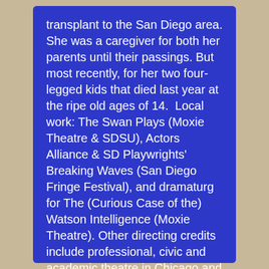transplant to the San Diego area. She was a caregiver for both her parents until their passings. But most recently, for her two four-legged kids that died last year at the ripe old ages of 14. Local work: The Swan Plays (Moxie Theatre & SDSU), Actors Alliance & SD Playwrights' Breaking Waves (San Diego Fringe Festival), and dramaturg for The (Curious Case of the) Watson Intelligence (Moxie Theatre). Other directing credits include professional, civic and academic theatre in Chicago and Southern WI. Recent credits include: